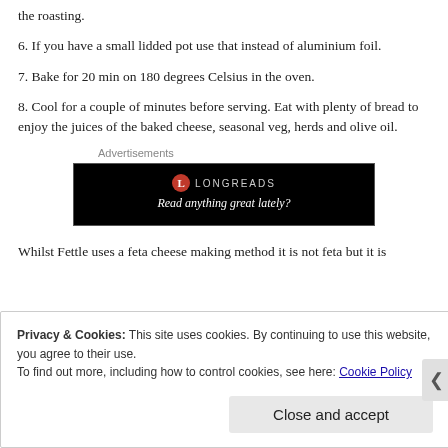the roasting.
6. If you have a small lidded pot use that instead of aluminium foil.
7. Bake for 20 min on 180 degrees Celsius in the oven.
8. Cool for a couple of minutes before serving. Eat with plenty of bread to enjoy the juices of the baked cheese, seasonal veg, herds and olive oil.
[Figure (screenshot): Longreads advertisement banner with black background. Logo circle with 'L', text 'LONGREADS', tagline 'Read anything great lately?']
Whilst Fettle uses a feta cheese making method it is not feta but it is
Privacy & Cookies: This site uses cookies. By continuing to use this website, you agree to their use. To find out more, including how to control cookies, see here: Cookie Policy